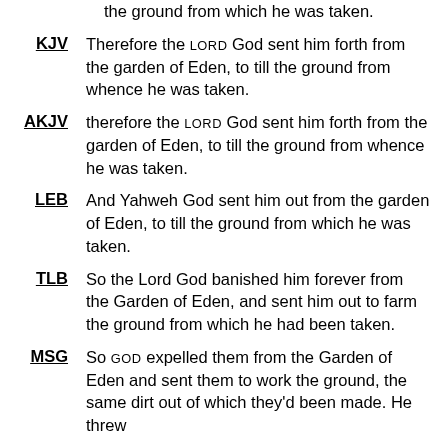the ground from which he was taken.
KJV — Therefore the LORD God sent him forth from the garden of Eden, to till the ground from whence he was taken.
AKJV — therefore the LORD God sent him forth from the garden of Eden, to till the ground from whence he was taken.
LEB — And Yahweh God sent him out from the garden of Eden, to till the ground from which he was taken.
TLB — So the Lord God banished him forever from the Garden of Eden, and sent him out to farm the ground from which he had been taken.
MSG — So GOD expelled them from the Garden of Eden and sent them to work the ground, the same dirt out of which they'd been made. He threw